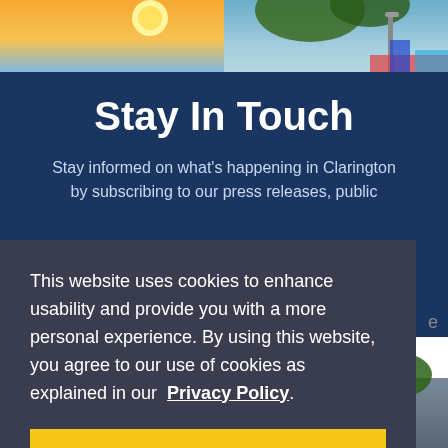[Figure (photo): Background photo collage: sunset over water on the left, park/playground scene on the right, bottom shows beach and parking lot scenes]
Stay In Touch
Stay informed on what's happening in Clarington by subscribing to our press releases, public
This website uses cookies to enhance usability and provide you with a more personal experience. By using this website, you agree to our use of cookies as explained in our Privacy Policy.
Agree